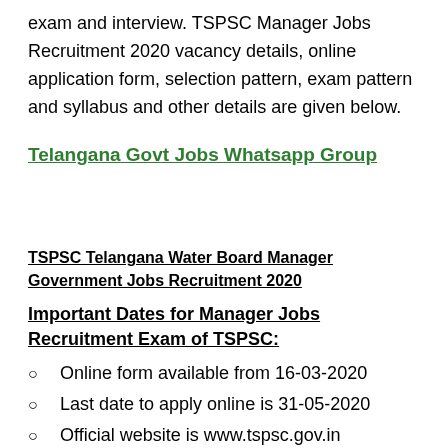exam and interview. TSPSC Manager Jobs Recruitment 2020 vacancy details, online application form, selection pattern, exam pattern and syllabus and other details are given below.
Telangana Govt Jobs Whatsapp Group
TSPSC Telangana Water Board Manager Government Jobs Recruitment 2020
Important Dates for Manager Jobs Recruitment Exam of TSPSC:
Online form available from 16-03-2020
Last date to apply online is 31-05-2020
Official website is www.tspsc.gov.in
Department: Telangana Water Board